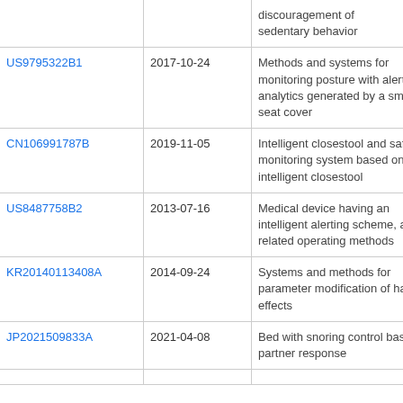| Patent | Date | Title |
| --- | --- | --- |
|  |  | discouragement of sedentary behavior |
| US9795322B1 | 2017-10-24 | Methods and systems for monitoring posture with alerts and analytics generated by a smart seat cover |
| CN106991787B | 2019-11-05 | Intelligent closestool and safety monitoring system based on intelligent closestool |
| US8487758B2 | 2013-07-16 | Medical device having an intelligent alerting scheme, and related operating methods |
| KR20140113408A | 2014-09-24 | Systems and methods for parameter modification of haptic effects |
| JP2021509833A | 2021-04-08 | Bed with snoring control based on partner response |